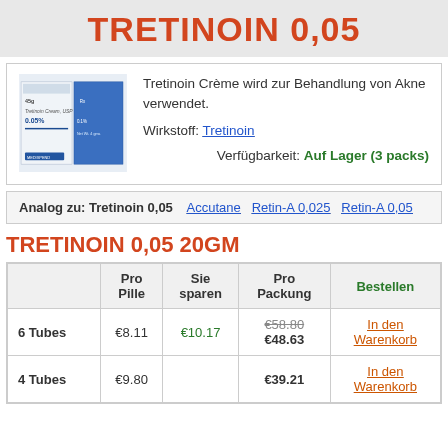TRETINOIN 0,05
[Figure (photo): Tretinoin Cream USP 0.05% product tube packaging image]
Tretinoin Crème wird zur Behandlung von Akne verwendet.
Wirkstoff: Tretinoin
Verfügbarkeit: Auf Lager (3 packs)
Analog zu: Tretinoin 0,05   Accutane   Retin-A 0,025   Retin-A 0,05
TRETINOIN 0,05 20GM
|  | Pro Pille | Sie sparen | Pro Packung | Bestellen |
| --- | --- | --- | --- | --- |
| 6 Tubes | €8.11 | €10.17 | €58.80 €48.63 | In den Warenkorb |
| 4 Tubes | €9.80 |  | €39.21 | In den Warenkorb |